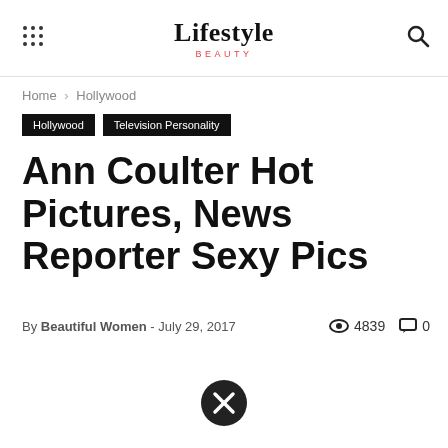Lifestyle BEAUTY
Home › Hollywood
Hollywood   Television Personality
Ann Coulter Hot Pictures, News Reporter Sexy Pics
By Beautiful Women - July 29, 2017   4839   0